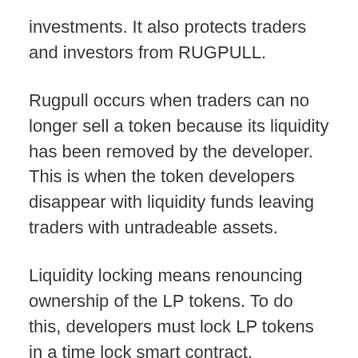investments. It also protects traders and investors from RUGPULL.
Rugpull occurs when traders can no longer sell a token because its liquidity has been removed by the developer. This is when the token developers disappear with liquidity funds leaving traders with untradeable assets.
Liquidity locking means renouncing ownership of the LP tokens. To do this, developers must lock LP tokens in a time lock smart contract.